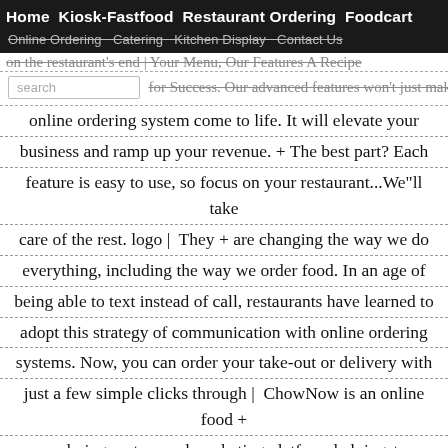Home  Kiosk-Fastfood  Restaurant Ordering  Foodcart
Online Ordering  Catering  Kitchen Display  Contact Us
on the restaurant's end | Your Menu, Our Features A Recipe for Success. Our advanced features won't just make your online ordering system come to life. It will elevate your business and ramp up your revenue. + The best part? Each feature is easy to use, so focus on your restaurant...We"ll take care of the rest. logo | They + are changing the way we do everything, including the way we order food. In an age of being able to text instead of call, restaurants have learned to adopt this strategy of communication with online ordering systems. Now, you can order your take-out or delivery with just a few simple clicks through | ChowNow is an online food + ordering system and marketing platform helping + restaurants feed their + hungry customers. | ChowNow is an online food ordering platform that connects customers with local restaurants. + Christopher Webb and Eric Jaffe, American entrepreneurs, founded the company in 2011 with